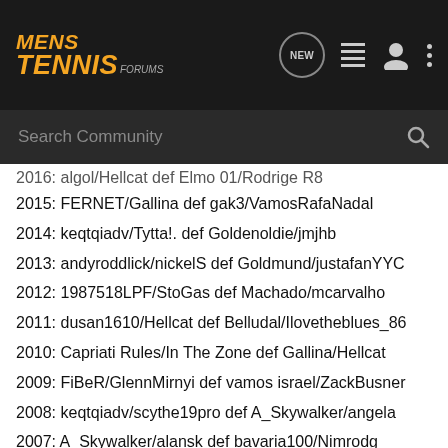MENS TENNIS FORUMS
Search Community
2016: algol/Hellcat def Elmo 01/Rodrige R8
2015: FERNET/Gallina def gak3/VamosRafaNadal
2014: keqtqiadv/Tytta!. def Goldenoldie/jmjhb
2013: andyroddlick/nickelS def Goldmund/justafanYYC
2012: 1987518LPF/StoGas def Machado/mcarvalho
2011: dusan1610/Hellcat def Belludal/Ilovetheblues_86
2010: Capriati Rules/In The Zone def Gallina/Hellcat
2009: FiBeR/GlennMirnyi def vamos israel/ZackBusner
2008: keqtqiadv/scythe19pro def A_Skywalker/angela
2007: A_Skywalker/alansk def bavaria100/Nimrodg
Past AO TT Player Numbers
2006--->39
2007--->158
2008--->180